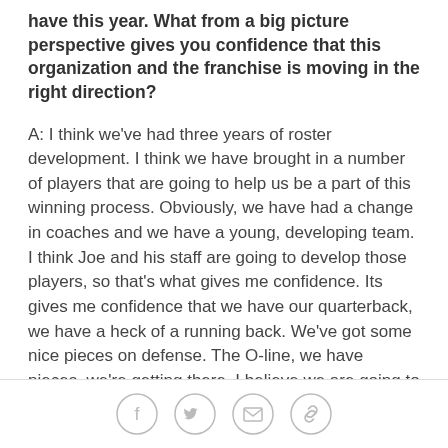have this year. What from a big picture perspective gives you confidence that this organization and the franchise is moving in the right direction?
A: I think we've had three years of roster development. I think we have brought in a number of players that are going to help us be a part of this winning process. Obviously, we have had a change in coaches and we have a young, developing team. I think Joe and his staff are going to develop those players, so that's what gives me confidence. Its gives me confidence that we have our quarterback, we have a heck of a running back. We've got some nice pieces on defense. The O-line, we have pieces, we're getting there. I believe we are going to be competitive.
Q: You mentioned that when you first took the job,
[Figure (other): Social sharing icons: Facebook, Twitter, Email, Link]